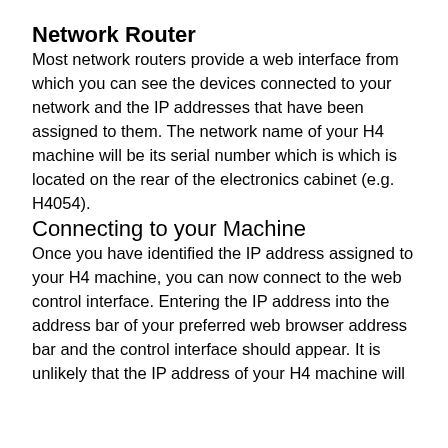Network Router
Most network routers provide a web interface from which you can see the devices connected to your network and the IP addresses that have been assigned to them. The network name of your H4 machine will be its serial number which is which is located on the rear of the electronics cabinet (e.g. H4054).
Connecting to your Machine
Once you have identified the IP address assigned to your H4 machine, you can now connect to the web control interface. Entering the IP address into the address bar of your preferred web browser address bar and the control interface should appear. It is unlikely that the IP address of your H4 machine will